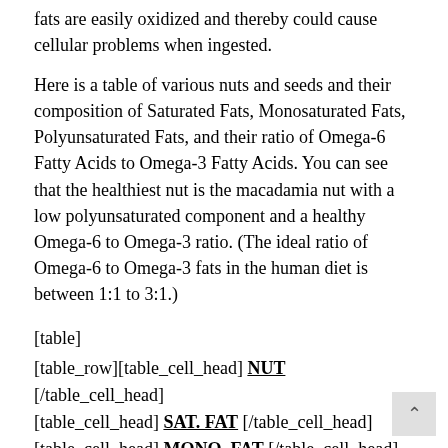fats are easily oxidized and thereby could cause cellular problems when ingested.
Here is a table of various nuts and seeds and their composition of Saturated Fats, Monosaturated Fats, Polyunsaturated Fats, and their ratio of Omega-6 Fatty Acids to Omega-3 Fatty Acids. You can see that the healthiest nut is the macadamia nut with a low polyunsaturated component and a healthy Omega-6 to Omega-3 ratio. (The ideal ratio of Omega-6 to Omega-3 fats in the human diet is between 1:1 to 3:1.)
[table]
[table_row][table_cell_head] NUT [/table_cell_head] [table_cell_head] SAT. FAT [/table_cell_head] [table_cell_head] MONO. FAT [/table_cell_head] [table_cell_head] POLY. FAT [/table_cell_head]